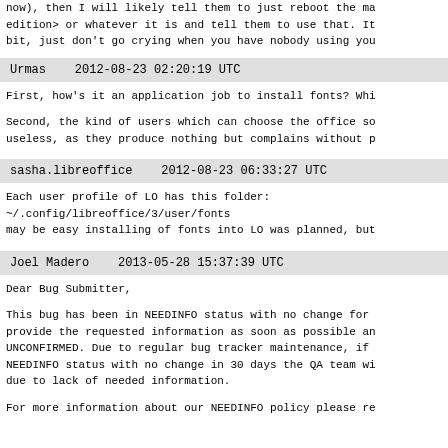now), then I will likely tell them to just reboot the ma edition> or whatever it is and tell them to use that. It bit, just don't go crying when you have nobody using you
Urmas    2012-08-23 02:20:19 UTC
First, how's it an application job to install fonts? Whi
Second, the kind of users which can choose the office so useless, as they produce nothing but complains without p
sasha.libreoffice    2012-08-23 06:33:27 UTC
Each user profile of LO has this folder:
~.config/libreoffice/3/user/fonts
may be easy installing of fonts into LO was planned, but
Joel Madero    2013-05-28 15:37:39 UTC
Dear Bug Submitter,
This bug has been in NEEDINFO status with no change for provide the requested information as soon as possible an UNCONFIRMED. Due to regular bug tracker maintenance, if NEEDINFO status with no change in 30 days the QA team wi due to lack of needed information.
For more information about our NEEDINFO policy please re